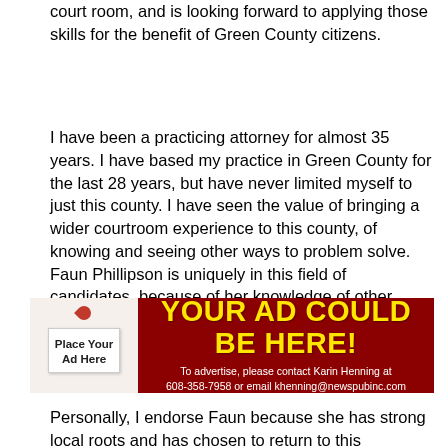court room, and is looking forward to applying those skills for the benefit of Green County citizens.
I have been a practicing attorney for almost 35 years. I have based my practice in Green County for the last 28 years, but have never limited myself to just this county. I have seen the value of bringing a wider courtroom experience to this county, of knowing and seeing other ways to problem solve. Faun Phillipson is uniquely in this field of candidates, because of her knowledge of other courts, and she will bring to the Green County bench what no other candidate can.
[Figure (infographic): Advertisement banner with dark red background. Left side shows a white tag with 'Place Your Ad Here'. Right side shows bold yellow text 'YOUR AD COULD BE HERE!' with white subtext 'To advertise, please contact Karin Henning at 608-358-7958 or email khenning@newspubinc.com']
Personally, I endorse Faun because she has strong local roots and has chosen to return to this community. She has served on various boards both locally in New Glarus and Monroe, and is now on the board...